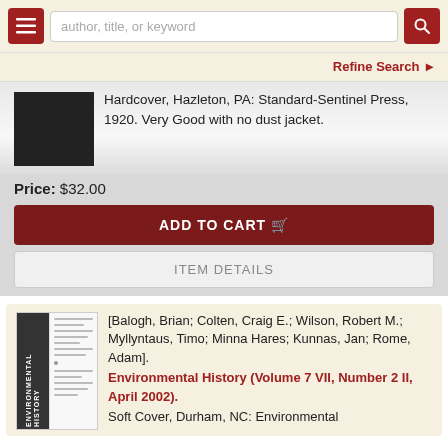author, title, or keyword | Refine Search
Hardcover, Hazleton, PA: Standard-Sentinel Press, 1920. Very Good with no dust jacket.
Price: $32.00
ADD TO CART
ITEM DETAILS
[Balogh, Brian; Colten, Craig E.; Wilson, Robert M.; Myllyntaus, Timo; Minna Hares; Kunnas, Jan; Rome, Adam]. Environmental History (Volume 7 VII, Number 2 II, April 2002).
Soft Cover, Durham, NC: Environmental